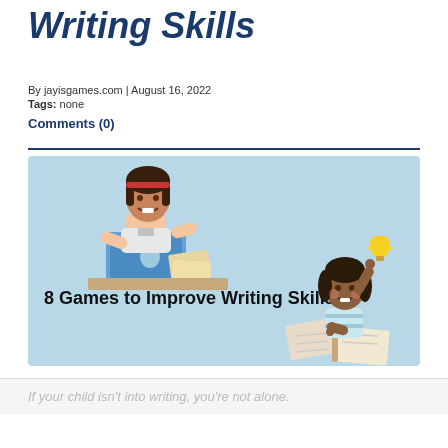Writing Skills
By jayisgames.com | August 16, 2022
Tags: none
Comments (0)
[Figure (illustration): Illustration with light blue background showing two cartoon children: a girl using a laptop at top left and a girl pointing upward with a lightbulb and an open book at bottom right. Text reads: 8 Games to Improve Writing Skills]
If your child isn't into writing, you're not alone.